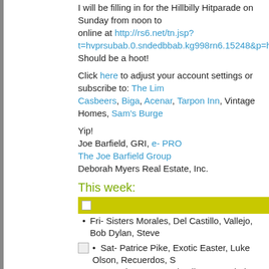I will be filling in for the Hillbilly Hitparade on Sunday from noon to online at http://rs6.net/tn.jsp?t=hvprsubab.0.sndedbbab.kg998rn6.15248&p=http%3A%2F%2F... Should be a hoot!
Click here to adjust your account settings or subscribe to: The Lim Casbeers, Biga, Acenar, Tarpon Inn, Vintage Homes, Sam's Burge
Yip!
Joe Barfield, GRI, e- PRO
The Joe Barfield Group
Deborah Myers Real Estate, Inc.
This week:
Fri- Sisters Morales, Del Castillo, Vallejo, Bob Dylan, Steve
Sat- Patrice Pike, Exotic Easter, Luke Olson, Recuerdos, S Esquire, Sexto Sol, Mike Rosenthal
Sun- T.V.A. Bluegrass, Hyperbubble, Hillbilly Hit Parade, Ea
Mon- Sean Castillo Swings, Jim Cullum
Tue- Glenn & Kim, PuroSlam, Jake Owen, George DeVore, Sol Trio
Wed- Claude "Butch" Morgan, Joe Posada, Ray Wylie Hub
Thu- The Small Stars, SA Blue Cats, The Gourds, Lucky St